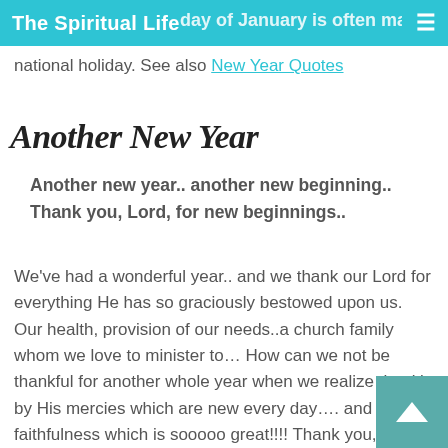The Spiritual Life
national holiday. See also New Year Quotes
Another New Year
Another new year.. another new beginning.. Thank you, Lord, for new beginnings..
We've had a wonderful year.. and we thank our Lord for everything He has so graciously bestowed upon us. Our health, provision of our needs..a church family whom we love to minister to… How can we not be thankful for another whole year when we realize that it's by His mercies which are new every day…. and His faithfulness which is sooooo great!!!! Thank you, Lord for everything.. How we praise You!!!